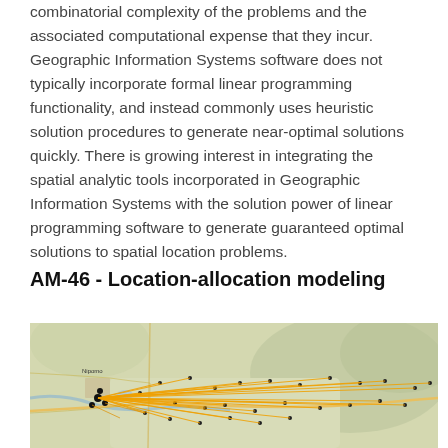combinatorial complexity of the problems and the associated computational expense that they incur. Geographic Information Systems software does not typically incorporate formal linear programming functionality, and instead commonly uses heuristic solution procedures to generate near-optimal solutions quickly. There is growing interest in integrating the spatial analytic tools incorporated in Geographic Information Systems with the solution power of linear programming software to generate guaranteed optimal solutions to spatial location problems.
AM-46 - Location-allocation modeling
[Figure (map): A geographic map showing location-allocation modeling results. A cluster of nodes on the left (west) side are connected by yellow/orange allocation lines radiating outward to numerous demand points distributed across the map. The map shows terrain with roads, a city area, and a wide valley.]